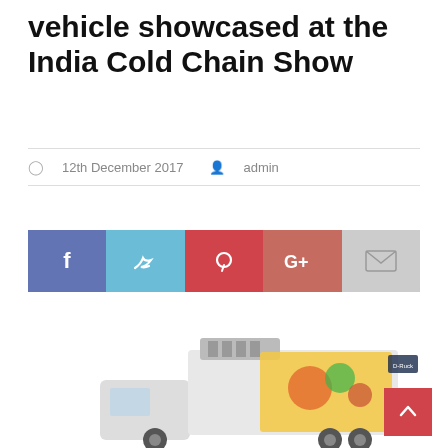vehicle showcased at the India Cold Chain Show
12th December 2017  admin
[Figure (infographic): Social sharing bar with Facebook (blue-purple), Twitter (light blue), Pinterest (red), Google+ (muted red), and Email (grey) buttons]
[Figure (photo): Refrigerated truck vehicle with cooling unit on top and colorful food graphics on the side panel, partially visible at bottom of page]